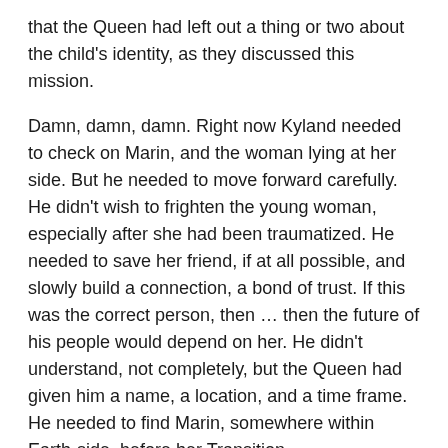that the Queen had left out a thing or two about the child's identity, as they discussed this mission.
Damn, damn, damn. Right now Kyland needed to check on Marin, and the woman lying at her side. But he needed to move forward carefully. He didn't wish to frighten the young woman, especially after she had been traumatized. He needed to save her friend, if at all possible, and slowly build a connection, a bond of trust. If this was the correct person, then … then the future of his people would depend on her. He didn't understand, not completely, but the Queen had given him a name, a location, and a time frame. He needed to find Marin, somewhere within Earth-side, before her Transition.
Well, if this was Marin, he had the woman/child; he was in Kentucky, so he was Earth-side, just like the Queen's